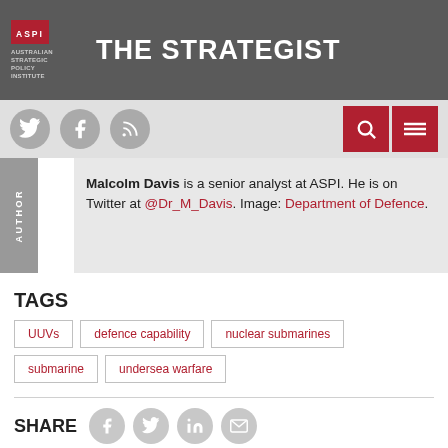THE STRATEGIST — Australian Strategic Policy Institute
Malcolm Davis is a senior analyst at ASPI. He is on Twitter at @Dr_M_Davis. Image: Department of Defence.
TAGS
UUVs
defence capability
nuclear submarines
submarine
undersea warfare
SHARE